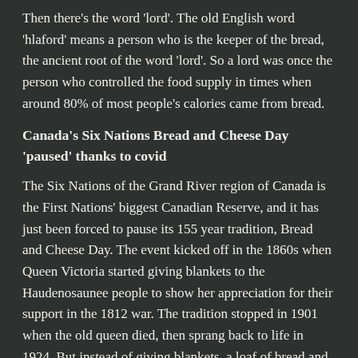Then there's the word 'lord'. The old English word 'hlaford' means a person who is the keeper of the bread, the ancient root of the word 'lord'. So a lord was once the person who controlled the food supply in times when around 80% of most people's calories came from bread.
Canada's Six Nations Bread and Cheese Day 'paused' thanks to covid
The Six Nations of the Grand River region of Canada is the First Nations' biggest Canadian Reserve, and it has just been forced to pause its 155 year tradition, Bread and Cheese Day. The event kicked off in the 1860s when Queen Victoria started giving blankets to the Haudenosaunee people to show her appreciation for their support in the 1812 war. The tradition stopped in 1901 when the old queen died, then sprang back to life in 1924. But instead of giving blankets, a loaf of bread and a hunk of cheese became the new symbolic gift.